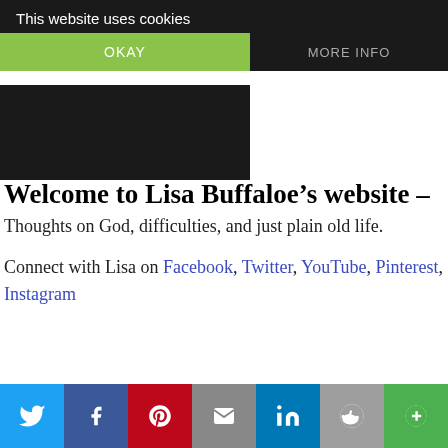This website uses cookies
OKAY
MORE INFO
Welcome to Lisa Buffaloe’s website –
Thoughts on God, difficulties, and just plain old life.
Connect with Lisa on Facebook, Twitter, YouTube, Pinterest, Instagram
To receive new posts, please enter your email address.

(I will not share your address with others).
[Figure (other): Social sharing bar with Twitter, Facebook, Pinterest, Email, LinkedIn, Reddit, and More icons]